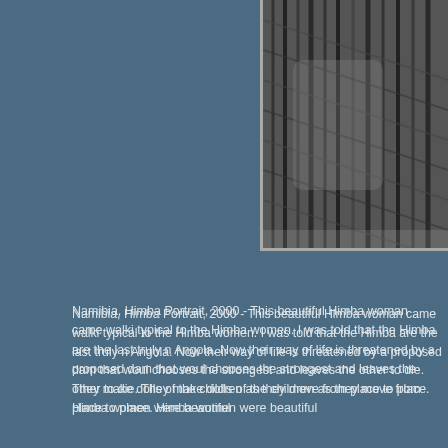[Figure (photo): Partial black and white photo of a Himba woman, visible in upper right corner of the page]
Namibia, Himba Portrait, 2000 - This beautiful Himba woman came walki... typical to the Himba women. I was told that the Himba are the last truly n... Angola. Now their way of life is threatened by a proposed dam that woul... chooses the strongest and leaves the other to die. They make dolls of the... children as they move from place to place. Himba women were beautiful...
Nation: Namibia
ISO Province: Namibia, Kunene
TCC Country: Namibia
Place: Epupa
Year:
File name: HimbaPortrait.jpg
Categories: Favorites, Fine Art, Hotpix, Tribal People
Photo upload size: 2853×4800
Photo display size: 230×387